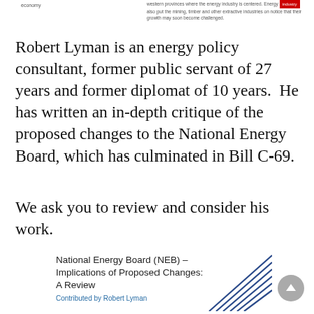economy | western provinces where the energy industry is centered. Energy [industry] also put the mining, timber and other extractive industries on notice that their growth may soon become challenged.
Robert Lyman is an energy policy consultant, former public servant of 27 years and former diplomat of 10 years.  He has written an in-depth critique of the proposed changes to the National Energy Board, which has culminated in Bill C-69.
We ask you to review and consider his work.
National Energy Board (NEB) – Implications of Proposed Changes: A Review
Contributed by Robert Lyman
[Figure (illustration): Decorative diagonal parallel lines in dark blue, bottom right corner]